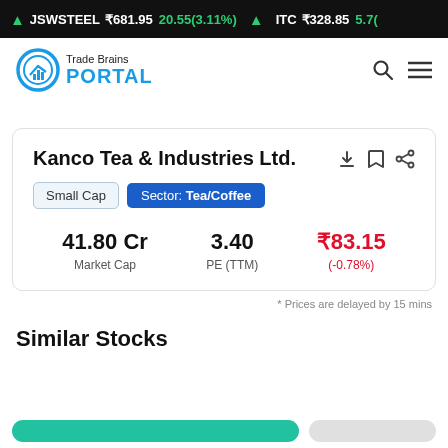JSWSTEEL ₹681.95 20.55(3.11%) ▲ ITC ₹328.85 5.7(
[Figure (logo): Trade Brains Portal logo with circular icon and blue PORTAL text]
Kanco Tea & Industries Ltd.
Small Cap  Sector: Tea/Coffee
| Market Cap | PE (TTM) | Price |
| --- | --- | --- |
| 41.80 Cr | 3.40 | ₹83.15 (-0.78%) |
* Prices are delayed by 15 mins
Similar Stocks